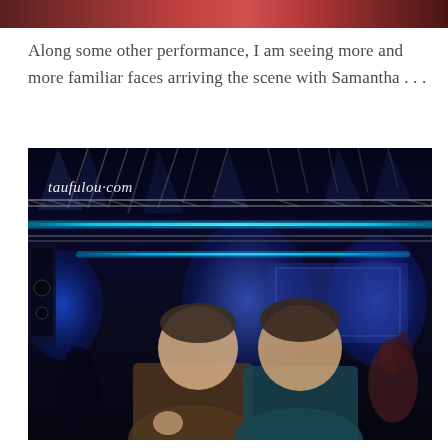[Figure (photo): Top portion of a photo showing people at an event, cropped at the top of the page]
Along some other performance, I am seeing more and more familiar faces arriving the scene with Samantha…
[Figure (photo): Two men posing together at a nightclub/concert event with blue stage lighting and truss structures in the background. Watermark reads 'taufulou·com' in the upper left corner.]